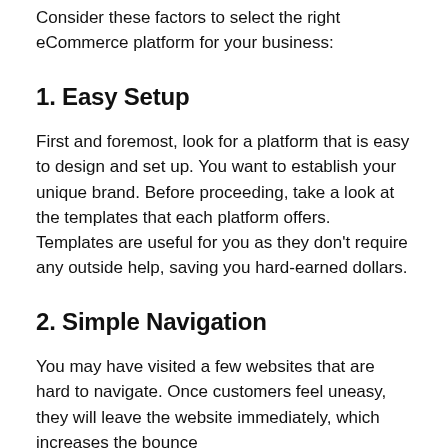Consider these factors to select the right eCommerce platform for your business:
1. Easy Setup
First and foremost, look for a platform that is easy to design and set up. You want to establish your unique brand. Before proceeding, take a look at the templates that each platform offers. Templates are useful for you as they don't require any outside help, saving you hard-earned dollars.
2. Simple Navigation
You may have visited a few websites that are hard to navigate. Once customers feel uneasy, they will leave the website immediately, which increases the bounce